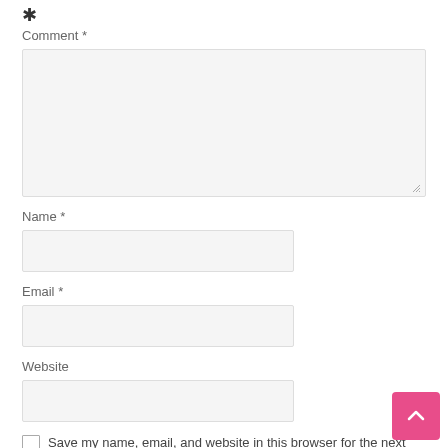*
Comment *
[Figure (screenshot): Large textarea input field with light gray background and resize handle at bottom right]
Name *
[Figure (screenshot): Text input field for Name with light gray background]
Email *
[Figure (screenshot): Text input field for Email with light gray background]
Website
[Figure (screenshot): Text input field for Website with light gray background]
Save my name, email, and website in this browser for the next time I comment.
Post Comment